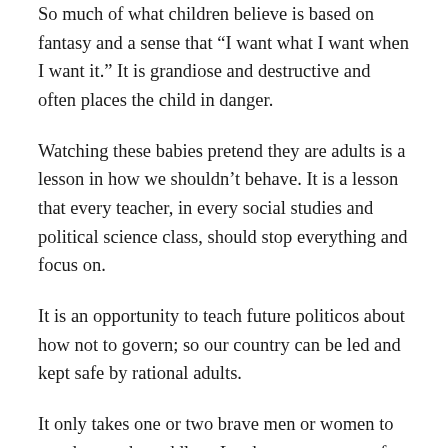So much of what children believe is based on fantasy and a sense that “I want what I want when I want it.” It is grandiose and destructive and often places the child in danger.
Watching these babies pretend they are adults is a lesson in how we shouldn’t behave. It is a lesson that every teacher, in every social studies and political science class, should stop everything and focus on.
It is an opportunity to teach future politicos about how not to govern; so our country can be led and kept safe by rational adults.
It only takes one or two brave men or women to stand up to the toddlers. Lead your party out of this immature, dangerous chaos and both republicans and democrats